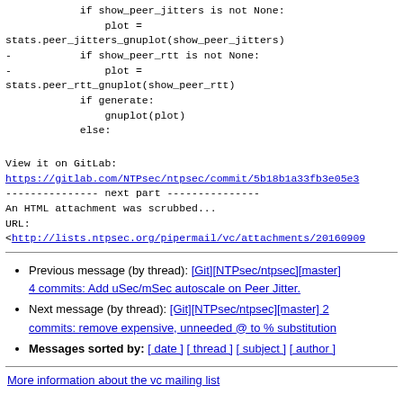stats.peer_jitters_gnuplot(show_peer_jitters)
            if show_peer_jitters is not None:
                plot =
stats.peer_jitters_gnuplot(show_peer_jitters)
-           if show_peer_rtt is not None:
-               plot =
stats.peer_rtt_gnuplot(show_peer_rtt)
            if generate:
                gnuplot(plot)
            else:
View it on GitLab:
https://gitlab.com/NTPsec/ntpsec/commit/5b18b1a33fb3e05e3
--------------- next part ---------------
An HTML attachment was scrubbed...
URL:
<http://lists.ntpsec.org/pipermail/vc/attachments/20160909
Previous message (by thread): [Git][NTPsec/ntpsec][master] 4 commits: Add uSec/mSec autoscale on Peer Jitter.
Next message (by thread): [Git][NTPsec/ntpsec][master] 2 commits: remove expensive, unneeded @ to % substitution
Messages sorted by: [ date ] [ thread ] [ subject ] [ author ]
More information about the vc mailing list